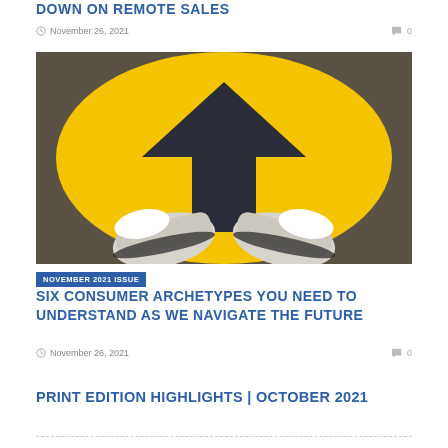DOWN ON REMOTE SALES
November 26, 2021  0
[Figure (photo): Overhead view of a person's sneakers standing on a yellow painted circle with a dark upward-pointing arrow on a stone/pavement surface]
NOVEMBER 2021 ISSUE
SIX CONSUMER ARCHETYPES YOU NEED TO UNDERSTAND AS WE NAVIGATE THE FUTURE
November 26, 2021  0
PRINT EDITION HIGHLIGHTS | OCTOBER 2021